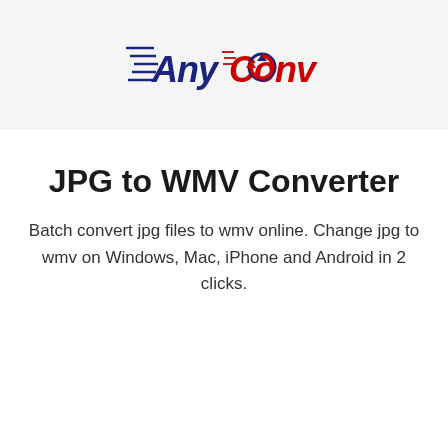[Figure (logo): AnyConv logo: speed-lines followed by stylized text 'AnyConv' with dark navy 'Any' and red 'Conv', with a circular arrow icon replacing the 'o' in Conv]
JPG to WMV Converter
Batch convert jpg files to wmv online. Change jpg to wmv on Windows, Mac, iPhone and Android in 2 clicks.